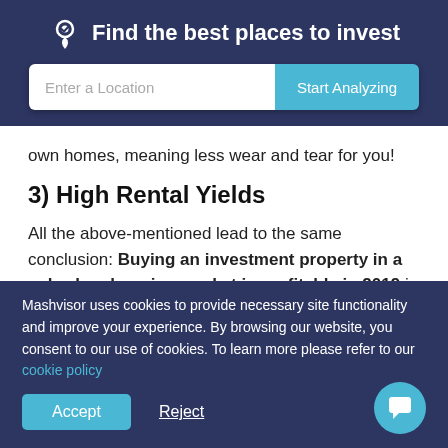Find the best places to invest
own homes, meaning less wear and tear for you!
3) High Rental Yields
All the above-mentioned lead to the same conclusion: Buying an investment property in a suburban housing market is profitable in 2019 in terms of rental income. The high rental demand, high occupancy rates, and economic
Mashvisor uses cookies to provide necessary site functionality and improve your experience. By browsing our website, you consent to our use of cookies. To learn more please refer to our cookie policy